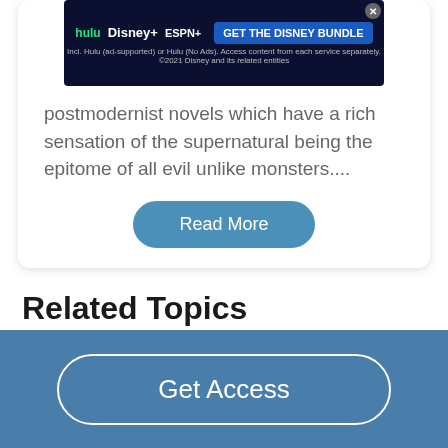[Figure (screenshot): Disney Bundle advertisement banner showing Hulu, Disney+, ESPN+ logos and 'GET THE DISNEY BUNDLE' button]
postmodernist novels which have a rich sensation of the supernatural being the epitome of all evil unlike monsters....
Read More
Related Topics
Edgar Allan Poe
Get Access